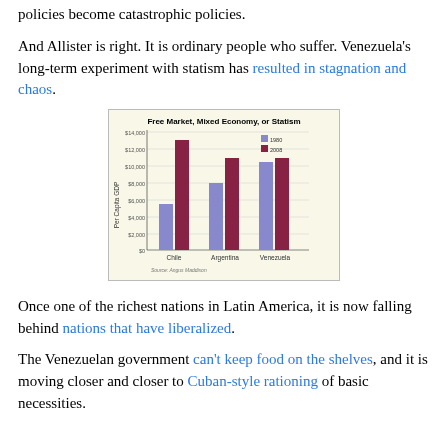policies become catastrophic policies.
And Allister is right. It is ordinary people who suffer. Venezuela's long-term experiment with statism has resulted in stagnation and chaos.
[Figure (grouped-bar-chart): Grouped bar chart comparing Per Capita GDP for Chile, Argentina, and Venezuela in 1980 and 2008. Source: Angus Maddison.]
Once one of the richest nations in Latin America, it is now falling behind nations that have liberalized.
The Venezuelan government can't keep food on the shelves, and it is moving closer and closer to Cuban-style rationing of basic necessities.